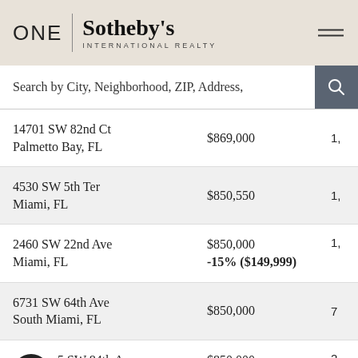ONE | Sotheby's INTERNATIONAL REALTY
Search by City, Neighborhood, ZIP, Address,
14701 SW 82nd Ct, Palmetto Bay, FL — $869,000 — 1,
4530 SW 5th Ter, Miami, FL — $850,550 — 1,
2460 SW 22nd Ave, Miami, FL — $850,000 / -15% ($149,999) — 1,
6731 SW 64th Ave, South Miami, FL — $850,000 — 7
5 SW 84th Ave, Miami, FL — $850,000 / -5% ($49,000) — 2